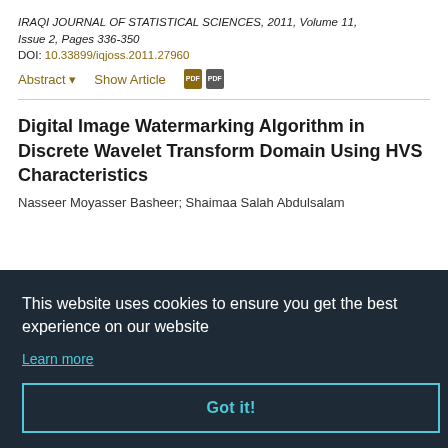IRAQI JOURNAL OF STATISTICAL SCIENCES, 2011, Volume 11, Issue 2, Pages 336-350
DOI: 10.33899/iqjoss.2011.27960
Abstract ▾   Show Article  [PDF icons]
Digital Image Watermarking Algorithm in Discrete Wavelet Transform Domain Using HVS Characteristics
Nasseer Moyasser Basheer; Shaimaa Salah Abdulsalam
This website uses cookies to ensure you get the best experience on our website
Learn more
Got it!
Partial Correlation coefficient